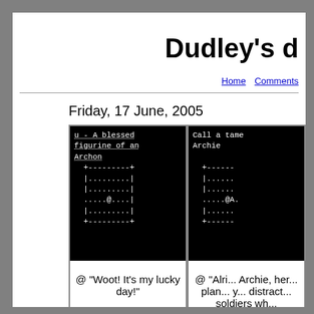Dudley's d
Home   Comments
Friday, 17 June, 2005
[Figure (screenshot): Screenshot of a game showing ASCII art dungeon map with text 'u - A blessed figurine of an Archon' and below it @ "Woot! It's my lucky day!"]
[Figure (screenshot): Screenshot of a game showing ASCII art dungeon map with text 'Call a tame Archie' and below it @ "Alri... Archie, her... plan... y... distract... soldiers wh..."]